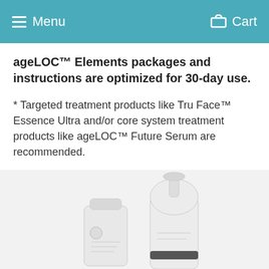Menu  Cart
ageLOC™ Elements packages and instructions are optimized for 30-day use.
* Targeted treatment products like Tru Face™ Essence Ultra and/or core system treatment products like ageLOC™ Future Serum are recommended.
RESOURCES
Product Information Page
[Figure (photo): Two Nu Skin skincare product containers — a small white tube and a tall white pump bottle — shown against a light gray background.]